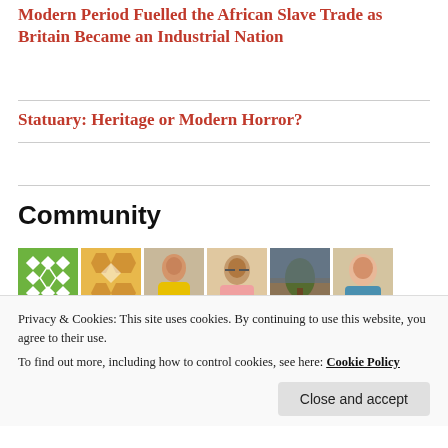Modern Period Fuelled the African Slave Trade as Britain Became an Industrial Nation
Statuary: Heritage or Modern Horror?
Community
[Figure (photo): Grid of community member avatars - some are geometric pattern icons in green, yellow, and olive colors; others are profile photos of people]
Privacy & Cookies: This site uses cookies. By continuing to use this website, you agree to their use.
To find out more, including how to control cookies, see here: Cookie Policy
Close and accept